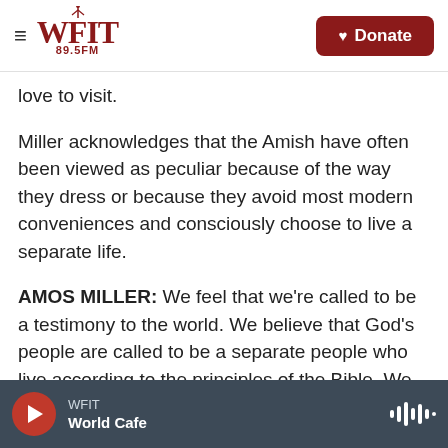WFIT 89.5FM — Donate
love to visit.
Miller acknowledges that the Amish have often been viewed as peculiar because of the way they dress or because they avoid most modern conveniences and consciously choose to live a separate life.
AMOS MILLER: We feel that we're called to be a testimony to the world. We believe that God's people are called to be a separate people who live according to the principles of the Bible. We live separately to try to live according to Christ's teaching in a more simple and more uncomplicated
WFIT — World Cafe